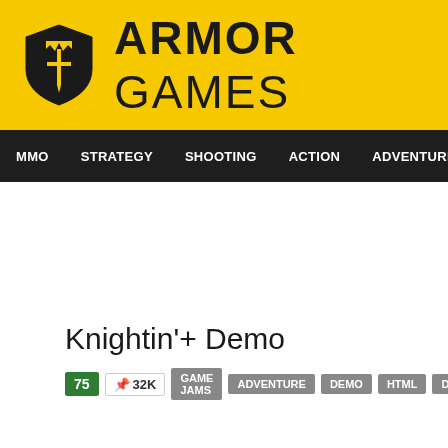ARMOR GAMES
MMO  STRATEGY  SHOOTING  ACTION  ADVENTURE  P
Knightin'+ Demo
75  32K  GAME JAMS  ADVENTURE  DEMO  HTML  DUNGEON